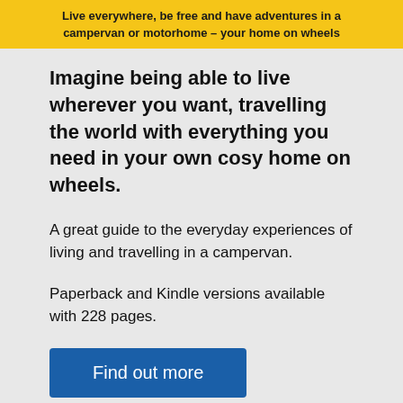[Figure (other): Yellow banner with bold text: 'Live everywhere, be free and have adventures in a campervan or motorhome – your home on wheels']
Imagine being able to live wherever you want, travelling the world with everything you need in your own cosy home on wheels.
A great guide to the everyday experiences of living and travelling in a campervan.
Paperback and Kindle versions available with 228 pages.
Find out more